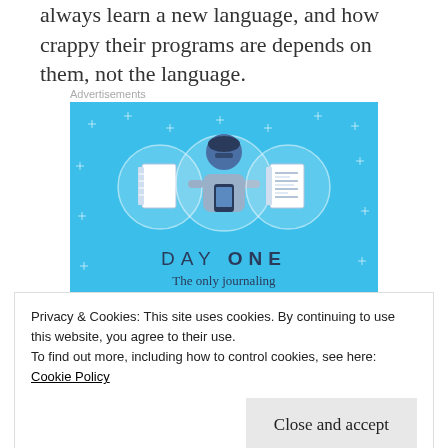always learn a new language, and how crappy their programs are depends on them, not the language.
[Figure (illustration): Day One journaling app advertisement with blue background, showing three circular icons (blank notebook, person holding phone, lined notepad), text 'DAY ONE - The only journaling app you'll ever need.' and a 'Get the app' button.]
Privacy & Cookies: This site uses cookies. By continuing to use this website, you agree to their use. To find out more, including how to control cookies, see here: Cookie Policy
have caused me a lot of problems. To take one at